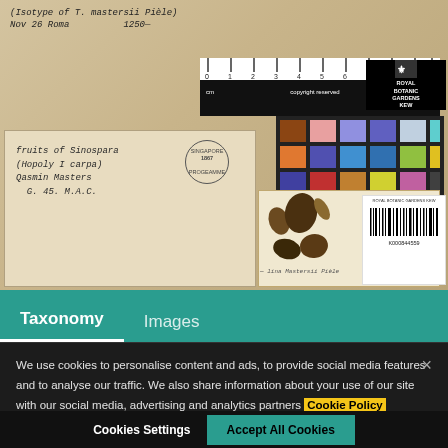[Figure (photo): Herbarium specimen sheet from Royal Botanic Gardens Kew showing dried seeds/fruits, handwritten labels, envelope with cursive text about 'fruits of Sinospara', circular stamp dated 1867, color calibration chart, ruler scale bar, and barcode label K000844559]
Taxonomy   Images
We use cookies to personalise content and ads, to provide social media features and to analyse our traffic. We also share information about your use of our site with our social media, advertising and analytics partners Cookie Policy
Cookies Settings    Accept All Cookies